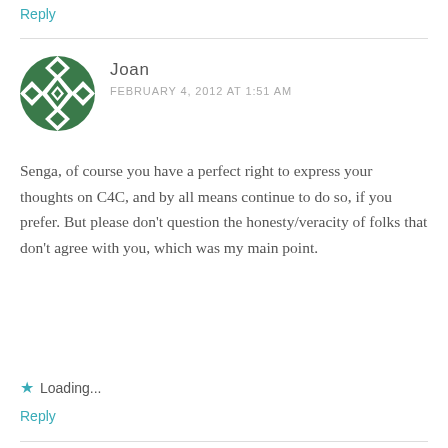Reply
[Figure (illustration): Circular avatar with green and white geometric diamond/snowflake pattern on dark green background]
Joan
FEBRUARY 4, 2012 AT 1:51 AM
Senga, of course you have a perfect right to express your thoughts on C4C, and by all means continue to do so, if you prefer. But please don't question the honesty/veracity of folks that don't agree with you, which was my main point.
Loading...
Reply